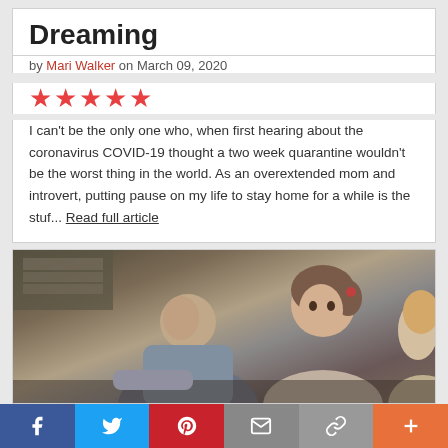Dreaming
by Mari Walker on March 09, 2020
★★★★★
I can't be the only one who, when first hearing about the coronavirus COVID-19 thought a two week quarantine wouldn't be the worst thing in the world. As an overextended mom and introvert, putting pause on my life to stay home for a while is the stuf... Read full article
[Figure (photo): A man and a young girl looking upward, photographed indoors, with another person partially visible on the right.]
f  Twitter  Pinterest  Email  Link  +